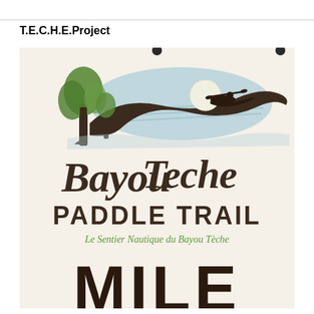T.E.C.H.E.Project
[Figure (photo): A photo of the Bayou Teche Paddle Trail sign on a cream/beige background. The sign features a silhouette logo of a kayaker on a bayou with cypress trees and a sun/moon, rendered in dark brown and light blue/green. Below the logo is cursive script text reading 'Bayou Teche' followed by bold text 'PADDLE TRAIL', then italic green text 'Le Sentier Nautique du Bayou Teche', and large bold text 'MILE' at the bottom (partially cropped).]